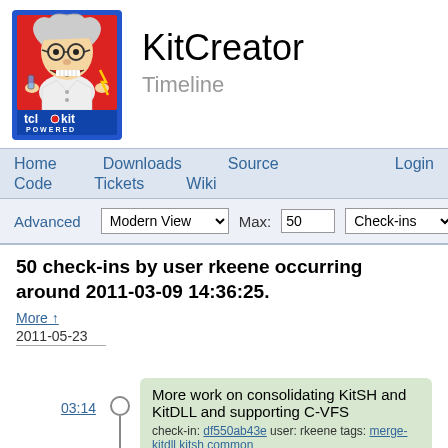[Figure (logo): KitCreator / TclKit Powered logo — cartoon scientist on red background with blue border]
KitCreator
Timeline
Home   Downloads   Source   Login
Code   Tickets   Wiki
Advanced   Modern View   Max: 50   Check-ins
50 check-ins by user rkeene occurring around 2011-03-09 14:36:25.
More ↑
2011-05-23
03:14
More work on consolidating KitSH and KitDLL and supporting C-VFS
check-in: df550ab43e user: rkeene tags: merge-kitdll kitsh common